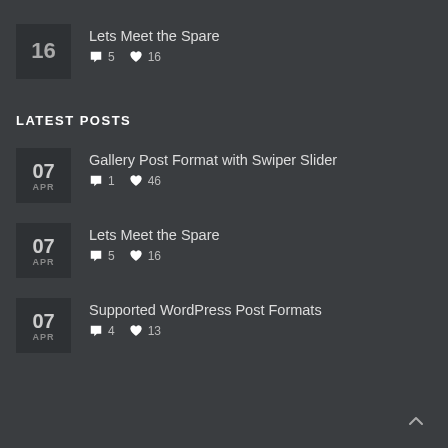Lets Meet the Spare | 5 comments | 16 likes
LATEST POSTS
07 APR | Gallery Post Format with Swiper Slider | 1 comment | 46 likes
07 APR | Lets Meet the Spare | 5 comments | 16 likes
07 APR | Supported WordPress Post Formats | 4 comments | 13 likes